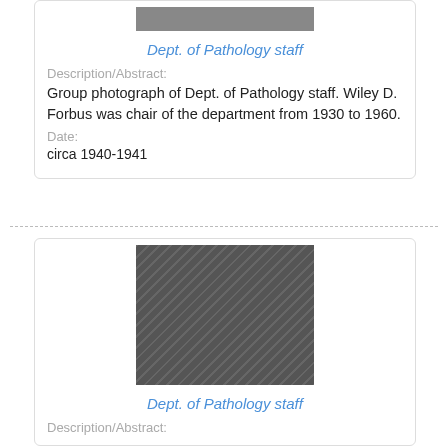[Figure (photo): Partial group photograph of Dept. of Pathology staff (top portion visible)]
Dept. of Pathology staff
Description/Abstract:
Group photograph of Dept. of Pathology staff. Wiley D. Forbus was chair of the department from 1930 to 1960.
Date:
circa 1940-1941
[Figure (photo): Group photograph of Dept. of Pathology staff, showing multiple rows of people mostly in white coats, black and white photo]
Dept. of Pathology staff
Description/Abstract: